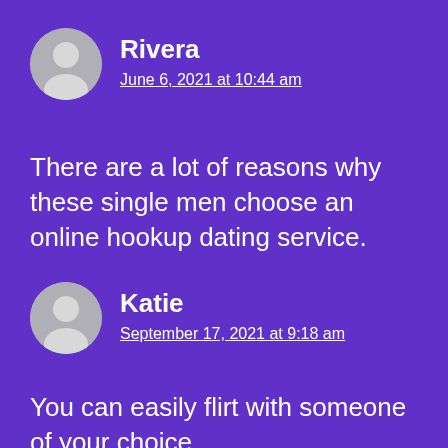Rivera
June 6, 2021 at 10:44 am
There are a lot of reasons why these single men choose an online hookup dating service.
Katie
September 17, 2021 at 9:18 am
You can easily flirt with someone of your choice.